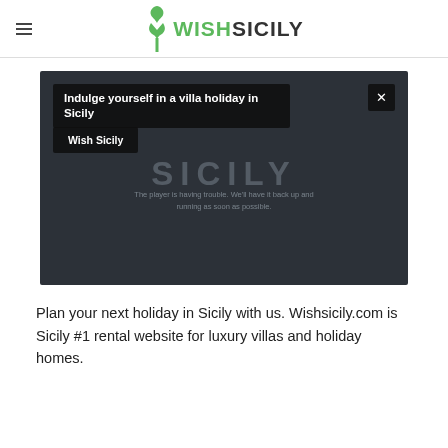WISHSICILY
[Figure (screenshot): Video player with dark background showing 'SICILY' watermark text and an error message. Overlay shows title 'Indulge yourself in a villa holiday in Sicily' with a close (×) button and a 'Wish Sicily' button below.]
Plan your next holiday in Sicily with us. Wishsicily.com is Sicily #1 rental website for luxury villas and holiday homes.